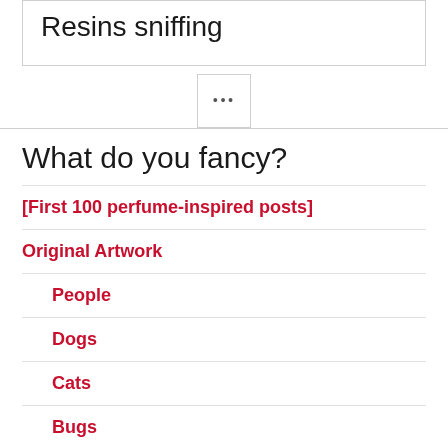Resins sniffing
•••
What do you fancy?
[First 100 perfume-inspired posts]
Original Artwork
People
Dogs
Cats
Bugs
Other Interesting Living Things